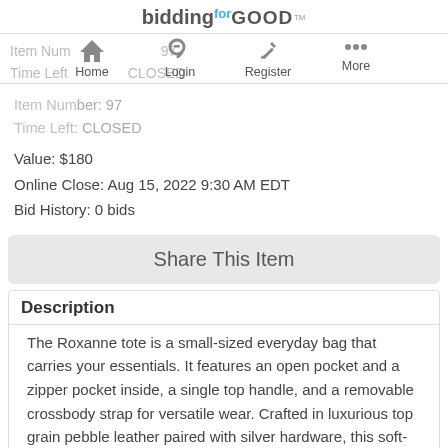biddingforGOOD
[Figure (infographic): Navigation bar with Home, Login, Register, More icons]
Item Number: 97
Time Left: CLOSED
Value: $180
Online Close: Aug 15, 2022 9:30 AM EDT
Bid History: 0 bids
Share This Item
Description
The Roxanne tote is a small-sized everyday bag that carries your essentials. It features an open pocket and a zipper pocket inside, a single top handle, and a removable crossbody strap for versatile wear. Crafted in luxurious top grain pebble leather paired with silver hardware, this soft-bodied tote can be dressed up or down. Add our patterned